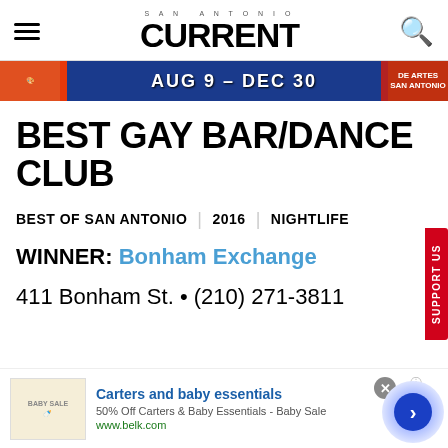SAN ANTONIO CURRENT
[Figure (screenshot): Advertisement banner: AUG 9 - DEC 30, colorful art event banner]
BEST GAY BAR/DANCE CLUB
BEST OF SAN ANTONIO | 2016 | NIGHTLIFE
WINNER: Bonham Exchange
411 Bonham St. • (210) 271-3811
[Figure (screenshot): Advertisement: Carters and baby essentials - 50% Off Carters & Baby Essentials - Baby Sale - www.belk.com]